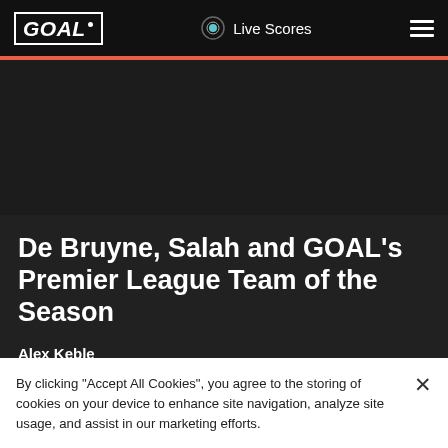GOAL | Live Scores
[Figure (photo): Dark background image area (article hero image, mostly dark/black)]
De Bruyne, Salah and GOAL's Premier League Team of the Season
Alex Keble
24 May 2022 07:00 • 00:00
By clicking “Accept All Cookies”, you agree to the storing of cookies on your device to enhance site navigation, analyze site usage, and assist in our marketing efforts.